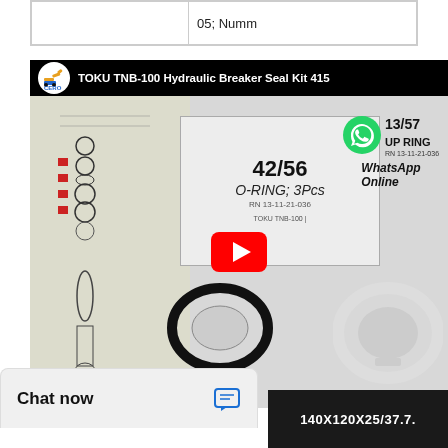|  | 05; Numm |
[Figure (screenshot): YouTube video thumbnail showing TOKU TNB-100 Hydraulic Breaker Seal Kit with CERO logo, labeled seal packets (42/56 O-RING; 3Pcs, 43/57 UP RING), WhatsApp Online contact info, and a YouTube play button overlay.]
Chat now
140X120X25/37.7.